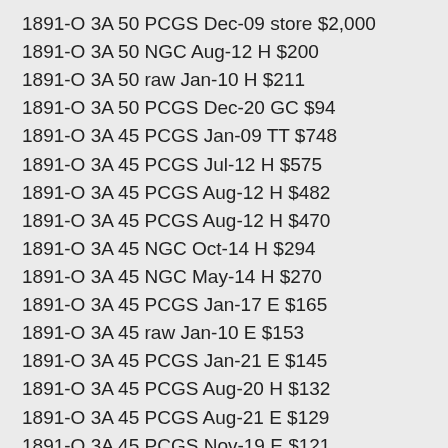1891-O 3A 50 PCGS Dec-09 store $2,000
1891-O 3A 50 NGC Aug-12 H $200
1891-O 3A 50 raw Jan-10 H $211
1891-O 3A 50 PCGS Dec-20 GC $94
1891-O 3A 45 PCGS Jan-09 TT $748
1891-O 3A 45 PCGS Jul-12 H $575
1891-O 3A 45 PCGS Aug-12 H $482
1891-O 3A 45 PCGS Aug-12 H $470
1891-O 3A 45 NGC Oct-14 H $294
1891-O 3A 45 NGC May-14 H $270
1891-O 3A 45 PCGS Jan-17 E $165
1891-O 3A 45 raw Jan-10 E $153
1891-O 3A 45 PCGS Jan-21 E $145
1891-O 3A 45 PCGS Aug-20 H $132
1891-O 3A 45 PCGS Aug-21 E $129
1891-O 3A 45 PCGS Nov-19 E $121
1891-O 3A 45 PCGS Sep-16 H $114
1891-O 3A 45 PCGS Dec-21 H $109
1891-O 3A 45 PCGS Jun-21 E $93
1891-O 3A 45 PCGS Nov-19 GC $87
1891-O 3A 45 PCGS Jun-20 E $76
1891-O 3A1 55 PCGS Dec-21 E $375